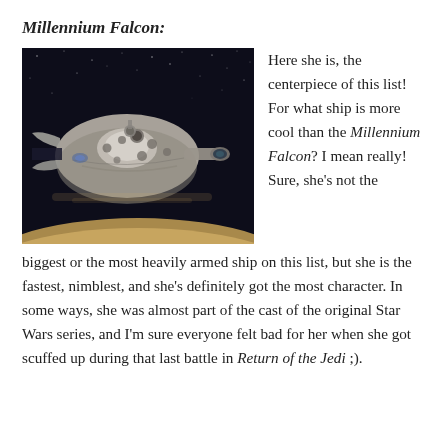Millennium Falcon:
[Figure (photo): Photo of a Millennium Falcon spaceship model flying over a desert/planet surface against a starry space background.]
Here she is, the centerpiece of this list! For what ship is more cool than the Millennium Falcon? I mean really! Sure, she's not the biggest or the most heavily armed ship on this list, but she is the fastest, nimblest, and she's definitely got the most character. In some ways, she was almost part of the cast of the original Star Wars series, and I'm sure everyone felt bad for her when she got scuffed up during that last battle in Return of the Jedi ;).